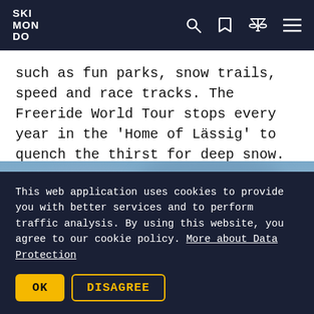SKI MONDO
such as fun parks, snow trails, speed and race tracks. The Freeride World Tour stops every year in the 'Home of Lässig' to quench the thirst for deep snow.
[Figure (photo): Blurred outdoor winter/mountain scene with blue sky and snow, possibly a skier or mountain landscape]
This web application uses cookies to provide you with better services and to perform traffic analysis. By using this website, you agree to our cookie policy. More about Data Protection
OK  DISAGREE